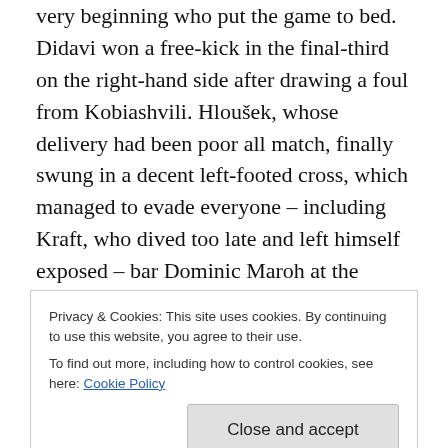very beginning who put the game to bed. Didavi won a free-kick in the final-third on the right-hand side after drawing a foul from Kobiashvili. Hloušek, whose delivery had been poor all match, finally swung in a decent left-footed cross, which managed to evade everyone – including Kraft, who dived too late and left himself exposed – bar Dominic Maroh at the back-post. The centre-back walked the ball in, before racing off behind the hoardings to celebrate putting his side 2-0 ahead with just six minutes left on the clock!
Privacy & Cookies: This site uses cookies. By continuing to use this website, you agree to their use.
To find out more, including how to control cookies, see here: Cookie Policy
sprawled on the floor, the home side's players seemed to